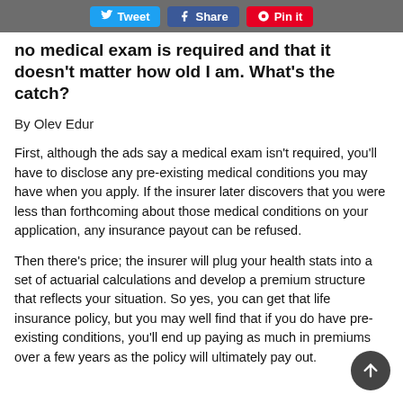Tweet  Share  Pin it
no medical exam is required and that it doesn't matter how old I am. What's the catch?
By Olev Edur
First, although the ads say a medical exam isn't required, you'll have to disclose any pre-existing medical conditions you may have when you apply. If the insurer later discovers that you were less than forthcoming about those medical conditions on your application, any insurance payout can be refused.
Then there's price; the insurer will plug your health stats into a set of actuarial calculations and develop a premium structure that reflects your situation. So yes, you can get that life insurance policy, but you may well find that if you do have pre-existing conditions, you'll end up paying as much in premiums over a few years as the policy will ultimately pay out.